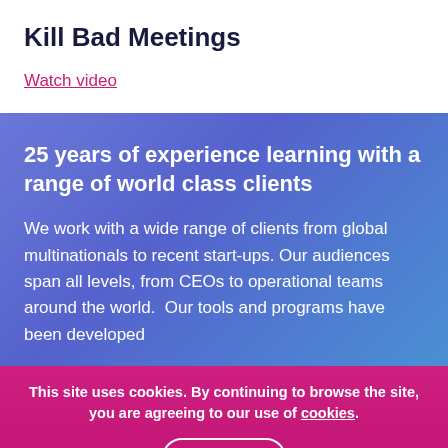Kill Bad Meetings
Watch video
25 years of experience learning with a range of world class clients
We work with a wide range of clients from global multinationals to recent start-ups. Our audiences span all levels, from CEOs to operational teams around the world.  Our tools and programs have been developed
This site uses cookies. By continuing to browse the site, you are agreeing to our use of cookies.
Okay >